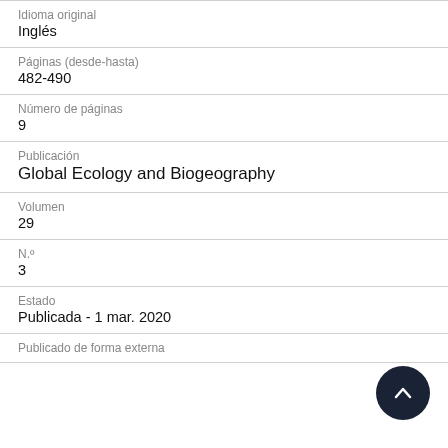| Campo | Valor |
| --- | --- |
| Idioma original | Inglés |
| Páginas (desde-hasta) | 482-490 |
| Número de páginas | 9 |
| Publicación | Global Ecology and Biogeography |
| Volumen | 29 |
| N.º | 3 |
| Estado | Publicada - 1 mar. 2020 |
| Publicado de forma externa |  |